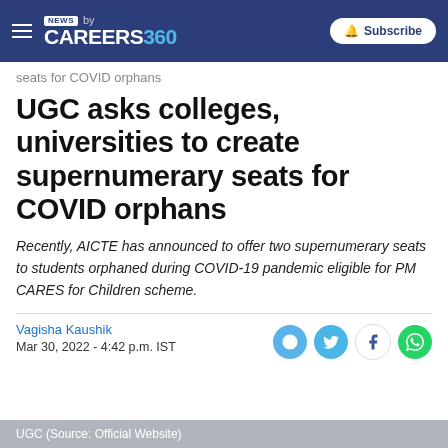NEWS by CAREERS360 | Subscribe
seats for COVID orphans
UGC asks colleges, universities to create supernumerary seats for COVID orphans
Recently, AICTE has announced to offer two supernumerary seats to students orphaned during COVID-19 pandemic eligible for PM CARES for Children scheme.
Vagisha Kaushik
Mar 30, 2022 - 4:42 p.m. IST
UGC (Source: Official Website)